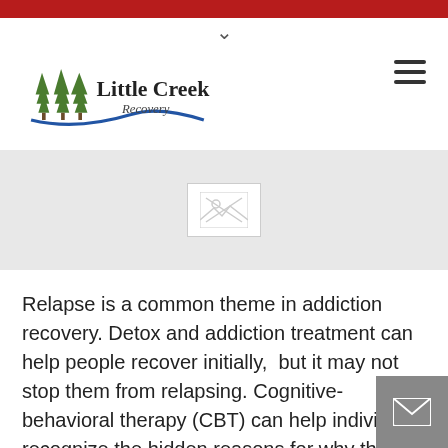Little Creek Recovery
[Figure (illustration): Broken/loading image placeholder in a grey banner area]
Relapse is a common theme in addiction recovery. Detox and addiction treatment can help people recover initially,  but it may not stop them from relapsing. Cognitive-behavioral therapy (CBT) can help individuals recognize the hidden reasons for why they start abusing substances. Also, CBT for substance abuse helps individuals choose a different